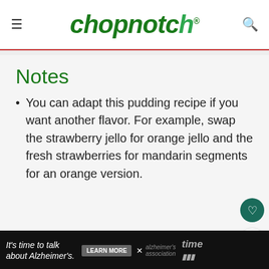chopnotch
Notes
You can adapt this pudding recipe if you want another flavor. For example, swap the strawberry jello for orange jello and the fresh strawberries for mandarin segments for an orange version.
It's time to talk about Alzheimer's. LEARN MORE